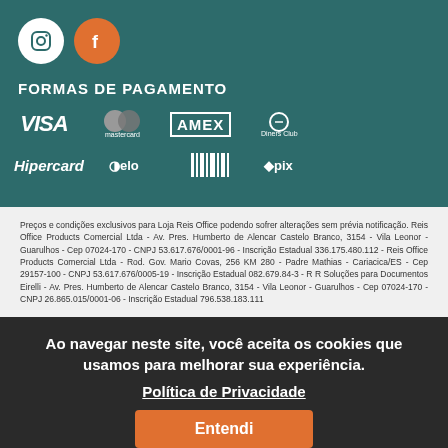[Figure (logo): Instagram and Facebook social media icon circles on teal background]
FORMAS DE PAGAMENTO
[Figure (logo): Payment method logos: VISA, Mastercard, AMEX, Diners Club, Hipercard, Elo, Boleto, Pix]
Preços e condições exclusivos para Loja Reis Office podendo sofrer alterações sem prévia notificação. Reis Office Products Comercial Ltda - Av. Pres. Humberto de Alencar Castelo Branco, 3154 - Vila Leonor - Guarulhos - Cep 07024-170 - CNPJ 53.617.676/0001-96 - Inscrição Estadual 336.175.480.112 - Reis Office Products Comercial Ltda - Rod. Gov. Mario Covas, 256 KM 280 - Padre Mathias - Cariacica/ES - Cep 29157-100 - CNPJ 53.617.676/0005-19 - Inscrição Estadual 082.679.84-3 - R R Soluções para Documentos Eirelli - Av. Pres. Humberto de Alencar Castelo Branco, 3154 - Vila Leonor - Guarulhos - Cep 07024-170 - CNPJ 26.865.015/0001-06 - Inscrição Estadual 796.538.183.111
Ao navegar neste site, você aceita os cookies que usamos para melhorar sua experiência.
Política de Privacidade
Entendi
[Figure (logo): NBR ISO 9001:2015 certification badge, rating 4.8/5 dated 02/09/2022, Loja Protegida badge]